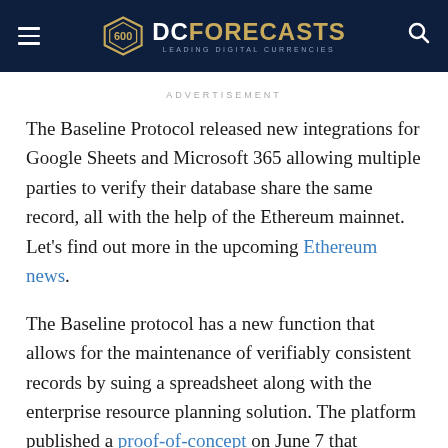DC FORECASTS — LEADING DIGITAL CURRENCIES
ADVERTISEMENT
The Baseline Protocol released new integrations for Google Sheets and Microsoft 365 allowing multiple parties to verify their database share the same record, all with the help of the Ethereum mainnet. Let's find out more in the upcoming Ethereum news.
The Baseline protocol has a new function that allows for the maintenance of verifiably consistent records by suing a spreadsheet along with the enterprise resource planning solution. The platform published a proof-of-concept on June 7 that demonstrated the ''baselining'' of the spreadsheet data to confirm that multiple independent private databases hold the very same records. Baseline was